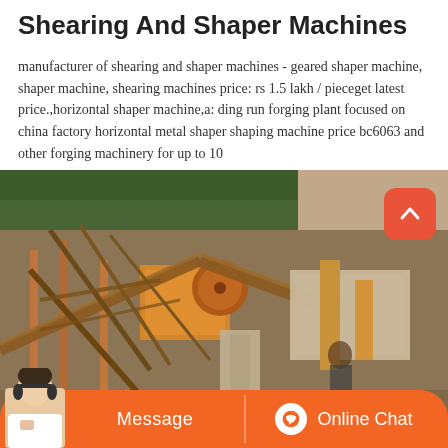Shearing And Shaper Machines
manufacturer of shearing and shaper machines - geared shaper machine, shaper machine, shearing machines price: rs 1.5 lakh / pieceget latest price.,horizontal shaper machine,a: ding run forging plant focused on china factory horizontal metal shaper shaping machine price bc6063 and other forging machinery for up to 10
[Figure (photo): Industrial machinery site showing heavy equipment including conveyor belts, crushers, and orange-painted machinery components at what appears to be a mining or quarrying facility with rocky terrain and vegetation in the background.]